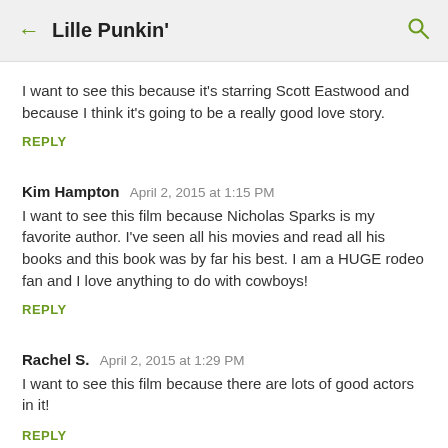← Lille Punkin' 🔍
I want to see this because it's starring Scott Eastwood and because I think it's going to be a really good love story.
REPLY
Kim Hampton  April 2, 2015 at 1:15 PM
I want to see this film because Nicholas Sparks is my favorite author. I've seen all his movies and read all his books and this book was by far his best. I am a HUGE rodeo fan and I love anything to do with cowboys!
REPLY
Rachel S.  April 2, 2015 at 1:29 PM
I want to see this film because there are lots of good actors in it!
REPLY